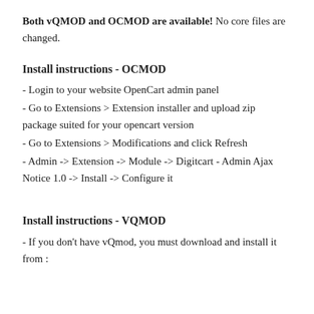Both vQMOD and OCMOD are available! No core files are changed.
Install instructions - OCMOD
- Login to your website OpenCart admin panel
- Go to Extensions > Extension installer and upload zip package suited for your opencart version
- Go to Extensions > Modifications and click Refresh
- Admin -> Extension -> Module -> Digitcart - Admin Ajax Notice 1.0 -> Install -> Configure it
Install instructions - VQMOD
- If you don't have vQmod, you must download and install it from :